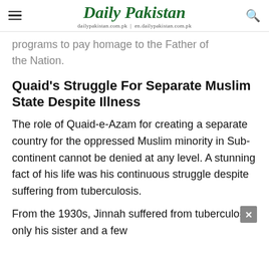Daily Pakistan — dailypakistan.com.pk | en.dailypakistan.com.pk
programs to pay homage to the Father of the Nation.
Quaid's Struggle For Separate Muslim State Despite Illness
The role of Quaid-e-Azam for creating a separate country for the oppressed Muslim minority in Sub-continent cannot be denied at any level. A stunning fact of his life was his continuous struggle despite suffering from tuberculosis.
From the 1930s, Jinnah suffered from tuberculosis; only his sister and a few